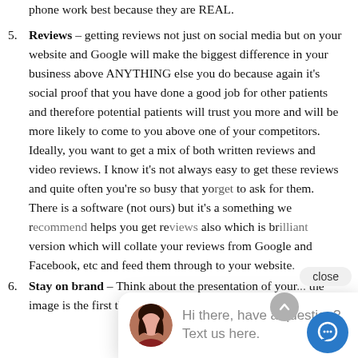phone work best because they are REAL.
Reviews – getting reviews not just on social media but on your website and Google will make the biggest difference in your business above ANYTHING else you do because again it's social proof that you have done a good job for other patients and therefore potential patients will trust you more and will be more likely to come to you above one of your competitors. Ideally, you want to get a mix of both written reviews and video reviews. I know it's not always easy to get these reviews and quite often you're so busy that you forget to ask for them. There is a software (not ours) but it's a something we recommend to all our clients which helps you get re... also which is br... version which will collate your reviews from Google and Facebook, etc and feed them through to your website.
Stay on brand – Think about the presentation of your... the image is the first thing people see, so you want to make it
[Figure (screenshot): Chat widget popup showing a woman's avatar photo and the message 'Hi there, have a question? Text us here.' with a close button and a blue chat icon button.]